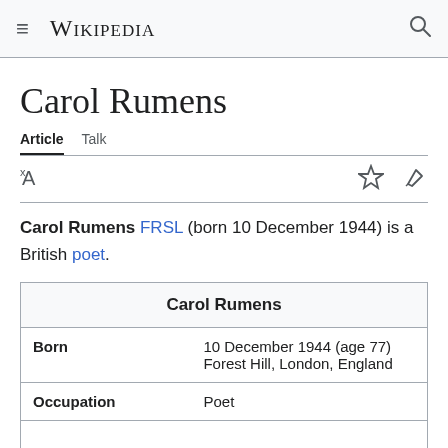Wikipedia
Carol Rumens
Article  Talk
Carol Rumens FRSL (born 10 December 1944) is a British poet.
| Carol Rumens |
| --- |
| Born | 10 December 1944 (age 77)
Forest Hill, London, England |
| Occupation | Poet |